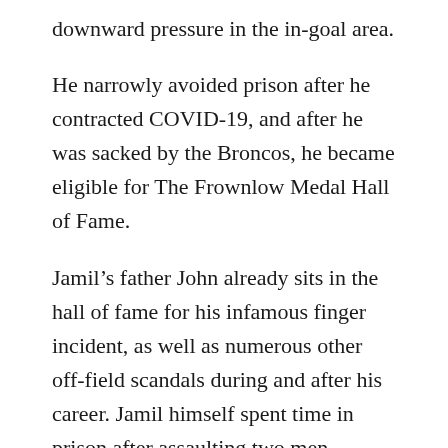downward pressure in the in-goal area.
He narrowly avoided prison after he contracted COVID-19, and after he was sacked by the Broncos, he became eligible for The Frownlow Medal Hall of Fame.
Jamil’s father John already sits in the hall of fame for his infamous finger incident, as well as numerous other off-field scandals during and after his career. Jamil himself spent time in prison after assaulting two men outside a pub in Sydney in 2014, for which he was sacked by the Manly Sea Eagles. After pleading guilty to domestic violence, he earns the coveted Frownlow Wife Beater Tattoo.
Nathan Bock also has a Wife Beater Tattoo and this earned him his place in the hall of fame. The former